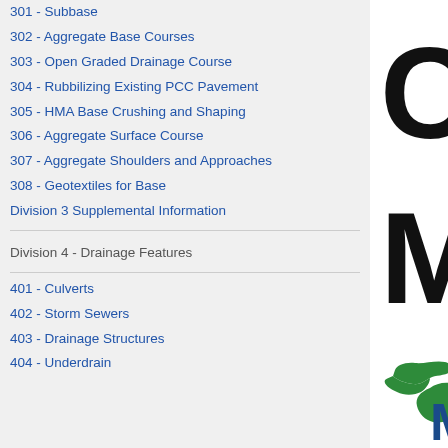301 - Subbase
302 - Aggregate Base Courses
303 - Open Graded Drainage Course
304 - Rubbilizing Existing PCC Pavement
305 - HMA Base Crushing and Shaping
306 - Aggregate Surface Course
307 - Aggregate Shoulders and Approaches
308 - Geotextiles for Base
Division 3 Supplemental Information
Division 4 - Drainage Features
401 - Culverts
402 - Storm Sewers
403 - Drainage Structures
404 - Underdrain
CONS
MANU
[Figure (logo): Michigan Department of Transportation logo — green silhouette of Michigan's Lower and Upper Peninsulas with blue stylized M letters]